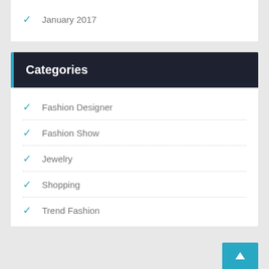January 2017
Categories
Fashion Designer
Fashion Show
Jewelry
Shopping
Trend Fashion